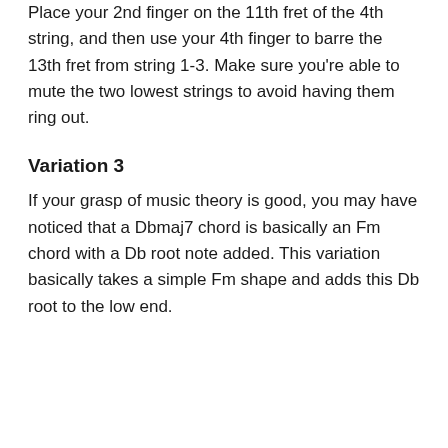Place your 2nd finger on the 11th fret of the 4th string, and then use your 4th finger to barre the 13th fret from string 1-3. Make sure you're able to mute the two lowest strings to avoid having them ring out.
Variation 3
If your grasp of music theory is good, you may have noticed that a Dbmaj7 chord is basically an Fm chord with a Db root note added. This variation basically takes a simple Fm shape and adds this Db root to the low end.